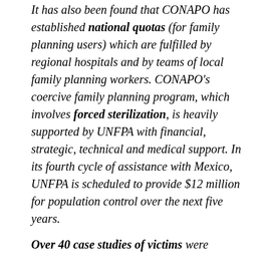It has also been found that CONAPO has established national quotas (for family planning users) which are fulfilled by regional hospitals and by teams of local family planning workers. CONAPO's coercive family planning program, which involves forced sterilization, is heavily supported by UNFPA with financial, strategic, technical and medical support. In its fourth cycle of assistance with Mexico, UNFPA is scheduled to provide $12 million for population control over the next five years.
Over 40 case studies of victims were